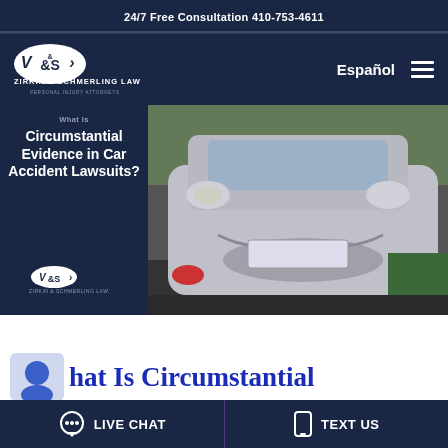24/7 Free Consultation 410-753-4611
[Figure (logo): Zirkin & Schmerling Law logo with oval emblem and text ZIRKIN & SCHMERLING LAW PERSONAL INJURY ATTORNEYS]
Español
[Figure (photo): Hero image split: left dark blue panel with text 'What Is Circumstantial Evidence in Car Accident Lawsuits?' and Zirkin & Schmerling Law logo; right panel shows a damaged silver car bumper after collision]
What Is Circumstantial
LIVE CHAT   TEXT US